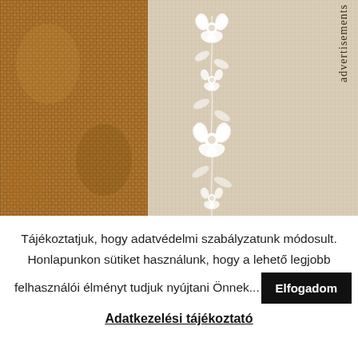[Figure (illustration): Top decorative banner: left side has a burlap/woven textile texture in warm brown tones; center has a beige/linen background with a vertical white floral vine ornament; right side shows the word 'advertisements' written vertically in dark serif letters.]
Tájékoztatjuk, hogy adatvédelmi szabályzatunk módosult. Honlapunkon sütiket használunk, hogy a lehető legjobb felhasználói élményt tudjuk nyújtani Önnek...
Elfogadom
Adatkezelési tájékoztató